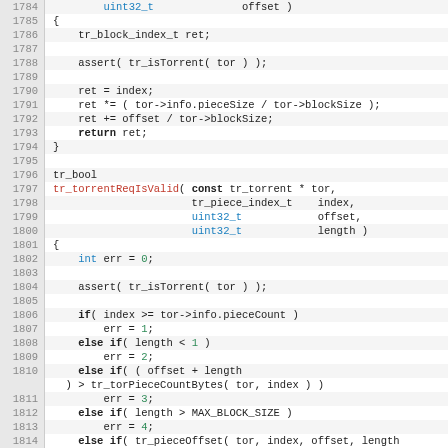[Figure (screenshot): Source code listing lines 1784-1814 showing C code for tr_torrentReqIsValid function and surrounding context]